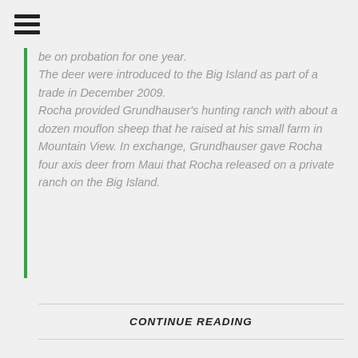[Figure (other): Hamburger menu icon with three horizontal bars]
be on probation for one year. The deer were introduced to the Big Island as part of a trade in December 2009. Rocha provided Grundhauser's hunting ranch with about a dozen mouflon sheep that he raised at his small farm in Mountain View. In exchange, Grundhauser gave Rocha four axis deer from Maui that Rocha released on a private ranch on the Big Island.
CONTINUE READING